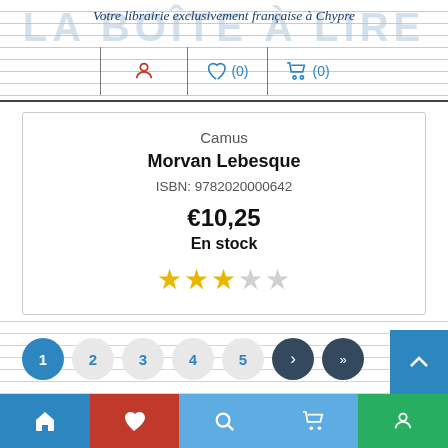Votre librairie exclusivement française à Chypre
Camus
Morvan Lebesque
ISBN: 9782020000642
€10,25
En stock
[Figure (other): Star rating: 3 out of 5 filled stars]
Pagination: 1 2 3 4 5 > >>
Home | Favourites | Search | Cart | Account